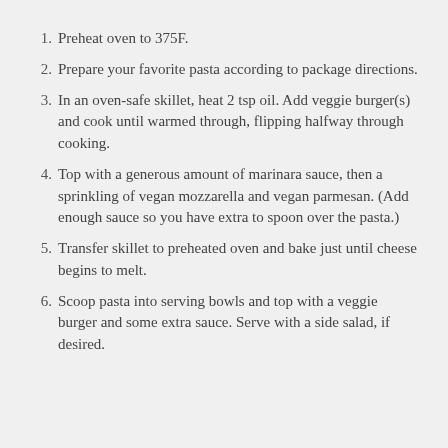Preheat oven to 375F.
Prepare your favorite pasta according to package directions.
In an oven-safe skillet, heat 2 tsp oil. Add veggie burger(s) and cook until warmed through, flipping halfway through cooking.
Top with a generous amount of marinara sauce, then a sprinkling of vegan mozzarella and vegan parmesan. (Add enough sauce so you have extra to spoon over the pasta.)
Transfer skillet to preheated oven and bake just until cheese begins to melt.
Scoop pasta into serving bowls and top with a veggie burger and some extra sauce. Serve with a side salad, if desired.